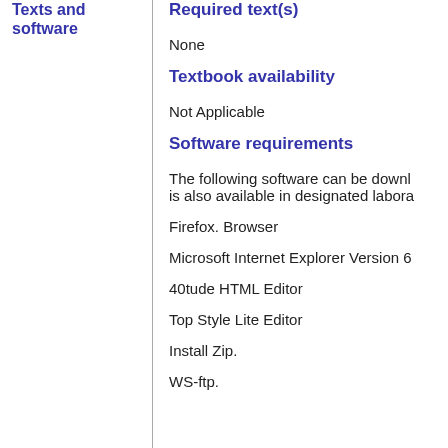Texts and software
Required text(s)
None
Textbook availability
Not Applicable
Software requirements
The following software can be downloaded and is also available in designated laboratories.
Firefox. Browser
Microsoft Internet Explorer Version 6
40tude HTML Editor
Top Style Lite Editor
Install Zip.
WS-ftp.